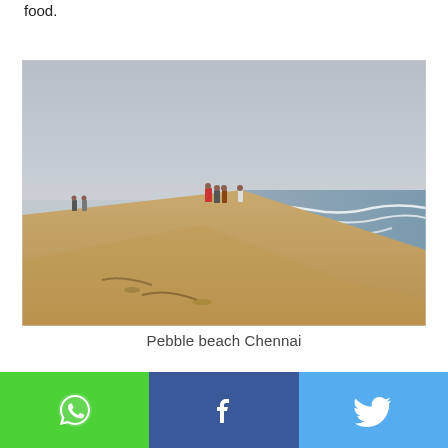food.
[Figure (photo): Beach scene at Pebble beach Chennai. Sandy shoreline with waves on the right side, people standing on the beach in the middle distance, overcast sky.]
Pebble beach Chennai
WhatsApp, Facebook, Twitter share buttons